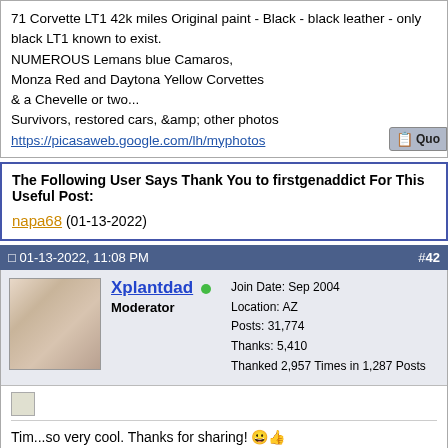71 Corvette LT1 42k miles Original paint - Black - black leather - only black LT1 known to exist.
NUMEROUS Lemans blue Camaros,
Monza Red and Daytona Yellow Corvettes
& a Chevelle or two...
Survivors, restored cars, &amp; other photos
https://picasaweb.google.com/lh/myphotos
The Following User Says Thank You to firstgenaddict For This Useful Post:
napa68 (01-13-2022)
01-13-2022, 11:08 PM #42
Join Date: Sep 2004
Location: AZ
Posts: 31,774
Thanks: 5,410
Thanked 2,957 Times in 1,287 Posts
Xplantdad
Moderator
Tim...so very cool. Thanks for sharing!
Bruce
Choose Life-Donate!